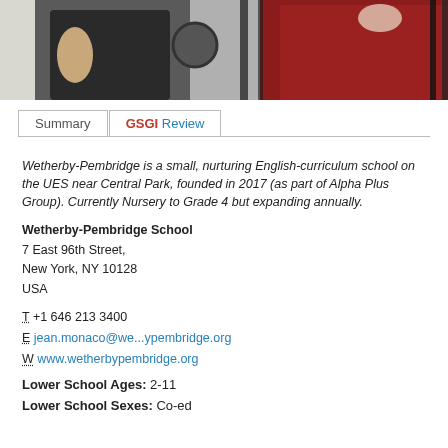[Figure (photo): Top portion of a photograph showing students, one in a black top and one in a red/maroon top, near railings or bars]
Summary | GSGI Review (tab bar)
Wetherby-Pembridge is a small, nurturing English-curriculum school on the UES near Central Park, founded in 2017 (as part of Alpha Plus Group). Currently Nursery to Grade 4 but expanding annually.
Wetherby-Pembridge School
7 East 96th Street,
New York, NY 10128
USA
T +1 646 213 3400
E jean.monaco@we...ypembridge.org
W www.wetherbypembridge.org
Lower School Ages: 2-11
Lower School Sexes: Co-ed